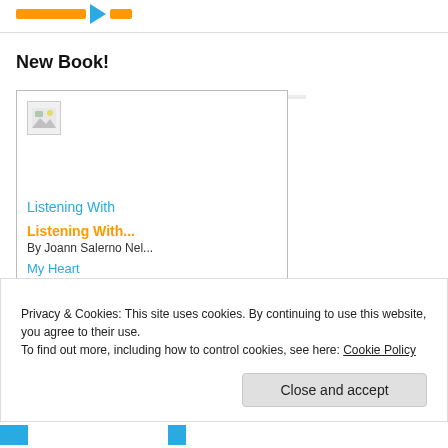Logo / navigation header with orange bar, blue arrow, and orange small bar
New Book!
[Figure (illustration): Book card showing a broken image placeholder, 'Listening With' link in blue, 'Listening With...' title in orange, 'By Joann Salerno Nel...' author, 'My Heart' subtitle in blue, and a partial blue button]
Privacy & Cookies: This site uses cookies. By continuing to use this website, you agree to their use.
To find out more, including how to control cookies, see here: Cookie Policy
Close and accept